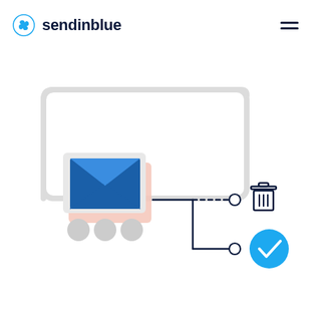[Figure (logo): Sendinblue logo with blue pinwheel icon and dark navy text 'sendinblue']
[Figure (illustration): Email automation workflow illustration showing a dark navy envelope icon on a light gray card with a salmon/pink shadow, three gray dots below it, connected by a dark navy L-shaped line branching: upper branch is dashed leading to a circle then a trash/delete icon; lower branch leads to a circle then a blue checkmark circle icon. Background has a partial light gray rounded rectangle frame.]